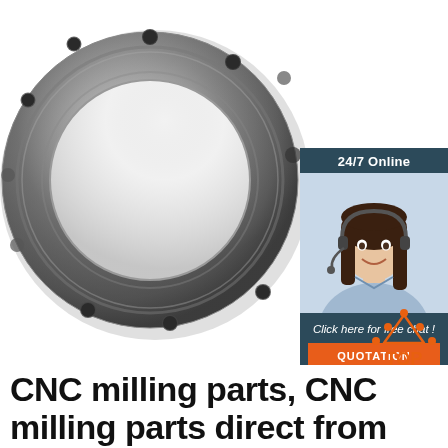[Figure (photo): Large CNC machined metal ring/flange with bolt holes, photographed on white background, occupying most of the upper-left portion of the page.]
24/7 Online
[Figure (photo): Woman wearing a headset smiling, representing a customer service agent.]
Click here for free chat !
QUOTATION
[Figure (logo): TOP logo with orange triangle/arrow pointing up and dots, with the word TOP in orange below.]
CNC milling parts, CNC milling parts direct from